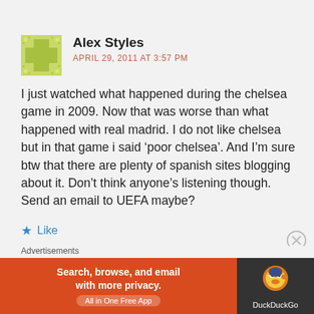Alex Styles
APRIL 29, 2011 AT 3:57 PM
I just watched what happened during the chelsea game in 2009. Now that was worse than what happened with real madrid. I do not like chelsea but in that game i said ‘poor chelsea’. And I’m sure btw that there are plenty of spanish sites blogging about it. Don’t think anyone’s listening though. Send an email to UEFA maybe?
★ Like
Advertisements
[Figure (infographic): DuckDuckGo advertisement banner: Search, browse, and email with more privacy. All in One Free App. DuckDuckGo logo on dark background.]